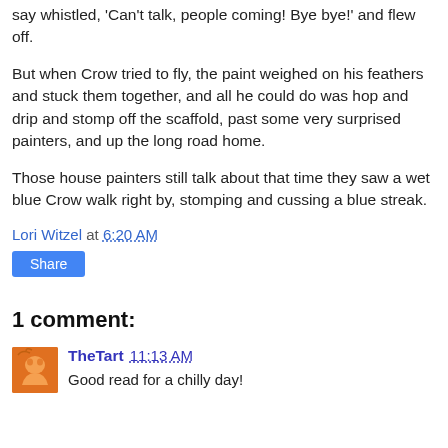say whistled, 'Can't talk, people coming! Bye bye!' and flew off.
But when Crow tried to fly, the paint weighed on his feathers and stuck them together, and all he could do was hop and drip and stomp off the scaffold, past some very surprised painters, and up the long road home.
Those house painters still talk about that time they saw a wet blue Crow walk right by, stomping and cussing a blue streak.
Lori Witzel at 6:20 AM
Share
1 comment:
TheTart 11:13 AM
Good read for a chilly day!